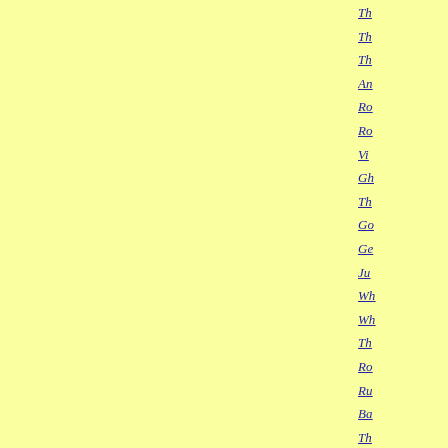Th...
Th...
An...
Ro...
Ro...
Vi...
Gh...
Th...
Go...
Ge...
Ju...
Wh...
Wh...
Th...
Ro...
Ru...
Ba...
Th...
Ch...
Ba...
Bi...
Th...